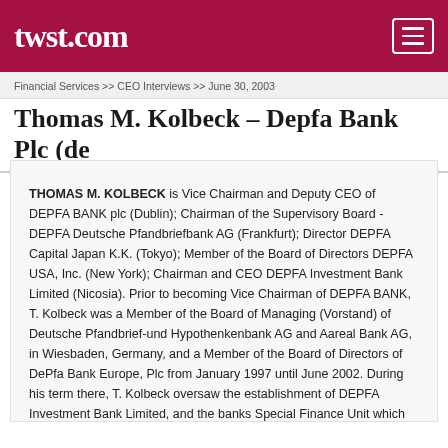twst.com
Financial Services >> CEO Interviews >> June 30, 2003
Thomas M. Kolbeck – Depfa Bank Plc (de
THOMAS M. KOLBECK is Vice Chairman and Deputy CEO of DEPFA BANK plc (Dublin); Chairman of the Supervisory Board - DEPFA Deutsche Pfandbriefbank AG (Frankfurt); Director DEPFA Capital Japan K.K. (Tokyo); Member of the Board of Directors DEPFA USA, Inc. (New York); Chairman and CEO DEPFA Investment Bank Limited (Nicosia). Prior to becoming Vice Chairman of DEPFA BANK, T. Kolbeck was a Member of the Board of Managing (Vorstand) of Deutsche Pfandbrief-und Hypothenkenbank AG and Aareal Bank AG, in Wiesbaden, Germany, and a Member of the Board of Directors of DePfa Bank Europe, Plc from January 1997 until June 2002. During his term there, T. Kolbeck oversaw the establishment of DEPFA Investment Bank Limited, and the banks Special Finance Unit which have established themselves as a major player in converging Europe. Prior to joining DEPFA BANK, T. Kolbeck began his banking career at Westdeutsche Landesbank in